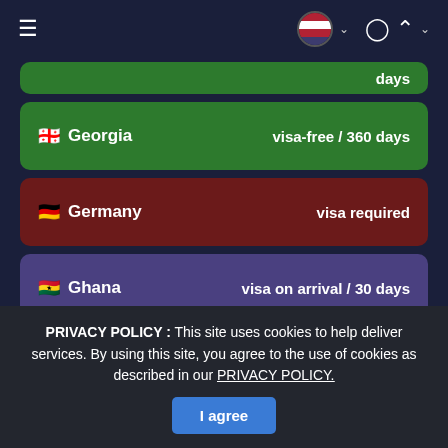Navigation bar with hamburger menu, US flag selector, and user account button
days (partial card, green)
Georgia — visa-free / 360 days
Germany — visa required
Ghana — visa on arrival / 30 days
Greece — visa required
(partial green card at bottom)
PRIVACY POLICY : This site uses cookies to help deliver services. By using this site, you agree to the use of cookies as described in our PRIVACY POLICY.